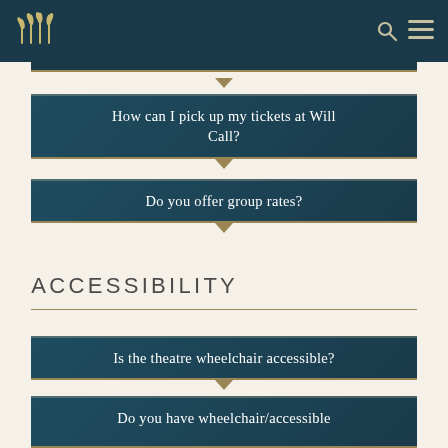Navigation header with logo and icons
How can I pick up my tickets at Will Call?
Do you offer group rates?
ACCESSIBILITY
Is the theatre wheelchair accessible?
Do you have wheelchair/accessible